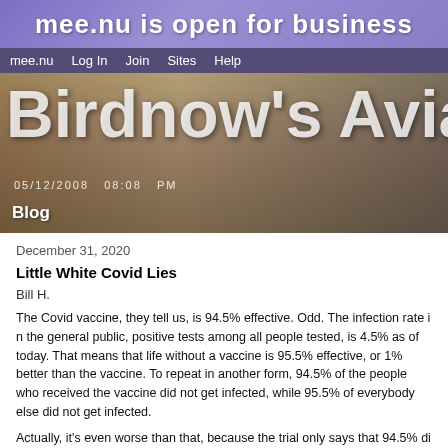mee.nu is open for business
[Figure (screenshot): Navigation bar with links: mee.nu, Log In, Join, Sites, Help]
[Figure (photo): Birdnow's Aviary site header image with large white text overlay, date 05/12/2008 08:08 PM, and Blog label]
December 31, 2020
Little White Covid Lies
Bill H.
The Covid vaccine, they tell us, is 94.5% effective. Odd. The infection rate in the general public, positive tests among all people tested, is 4.5% as of today. That means that life without a vaccine is 95.5% effective, or 1% better than the vaccine. To repeat in another form, 94.5% of the people who received the vaccine did not get infected, while 95.5% of everybody else did not get infected.
Actually, it's even worse than that, because the trial only says that 94.5% di...